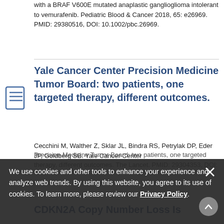with a BRAF V600E mutated anaplastic ganglioglioma intolerant to vemurafenib. Pediatric Blood & Cancer 2018, 65: e26969. PMID: 29380516, DOI: 10.1002/pbc.26969.
Yale Cancer Center Precision Medicine Tumor Board: two patients, one targeted therapy, different outcomes.
Cecchini M, Walther Z, Sklar JL, Bindra RS, Petrylak DP, Eder JP, Goldberg SB. Yale Cancer Center Precision Medicine Tumor Board: two patients, one targeted therapy, different outcomes. The Lancet. PMID: 29304353, DOI:
We use cookies and other tools to enhance your experience and analyze web trends. By using this website, you agree to its use of cookies. To learn more, please review our Privacy Policy.
CDKN2A Copy Number Loss Is